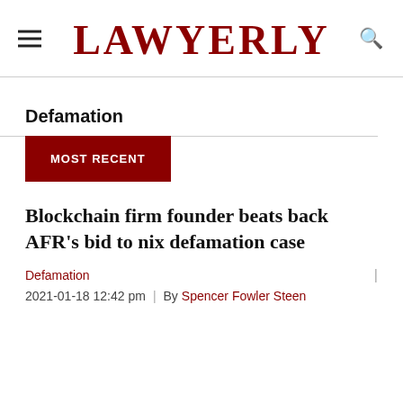LAWYERLY
Defamation
MOST RECENT
Blockchain firm founder beats back AFR's bid to nix defamation case
Defamation
2021-01-18 12:42 pm  |  By  Spencer Fowler Steen